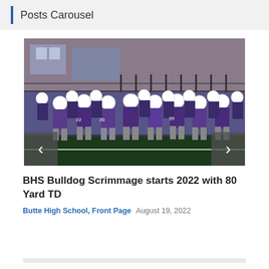Posts Carousel
[Figure (photo): Football players in white helmets and purple jerseys running on a field during a scrimmage game, with spectators and a brick building visible in the background. Carousel navigation arrows visible at bottom left and right.]
BHS Bulldog Scrimmage starts 2022 with 80 Yard TD
Butte High School, Front Page   August 19, 2022